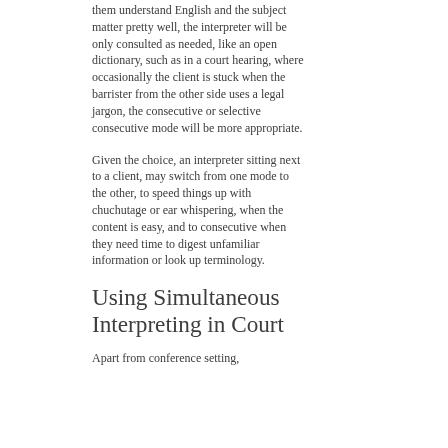them understand English and the subject matter pretty well, the interpreter will be only consulted as needed, like an open dictionary, such as in a court hearing, where occasionally the client is stuck when the barrister from the other side uses a legal jargon, the consecutive or selective consecutive mode will be more appropriate.
Given the choice, an interpreter sitting next to a client, may switch from one mode to the other, to speed things up with chuchutage or ear whispering, when the content is easy, and to consecutive when they need time to digest unfamiliar information or look up terminology.
Using Simultaneous Interpreting in Court
Apart from conference setting,